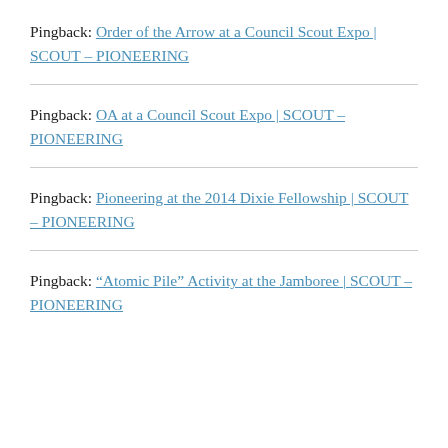Pingback: Order of the Arrow at a Council Scout Expo | SCOUT – PIONEERING
Pingback: OA at a Council Scout Expo | SCOUT – PIONEERING
Pingback: Pioneering at the 2014 Dixie Fellowship | SCOUT – PIONEERING
Pingback: “Atomic Pile” Activity at the Jamboree | SCOUT – PIONEERING